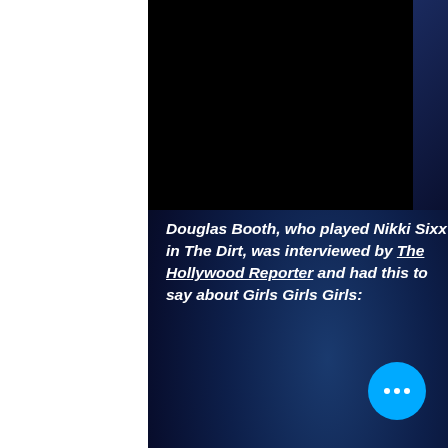[Figure (photo): Black rectangle representing a video/image area at the top of the content panel, with a dark blue gradient background below]
Douglas Booth, who played Nikki Sixx in The Dirt, was interviewed by The Hollywood Reporter and had this to say about Girls Girls Girls: